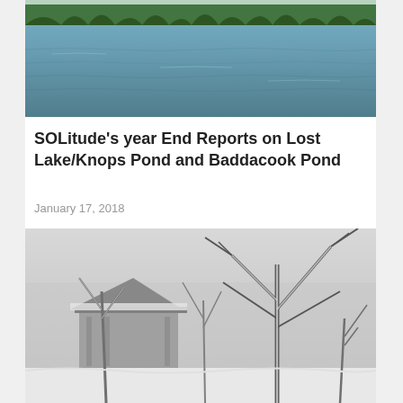[Figure (photo): Aerial or shoreline view of a calm lake with green tree reflections on still blue-grey water, taken in summer or autumn.]
SOLitude's year End Reports on Lost Lake/Knops Pond and Baddacook Pond
January 17, 2018
[Figure (photo): Black and white winter scene showing a snow-covered structure (gazebo or small building) surrounded by bare ice-covered trees and branches.]